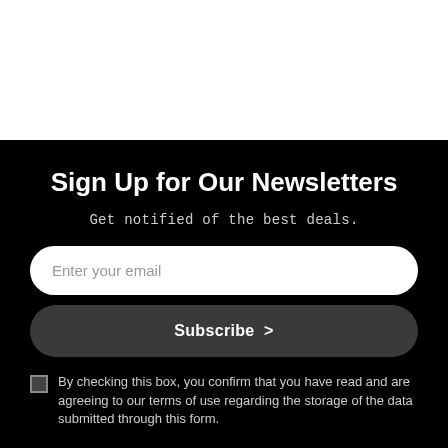Sign Up for Our Newsletters
Get notified of the best deals.
Enter your email
Subscribe >
By checking this box, you confirm that you have read and are agreeing to our terms of use regarding the storage of the data submitted through this form.